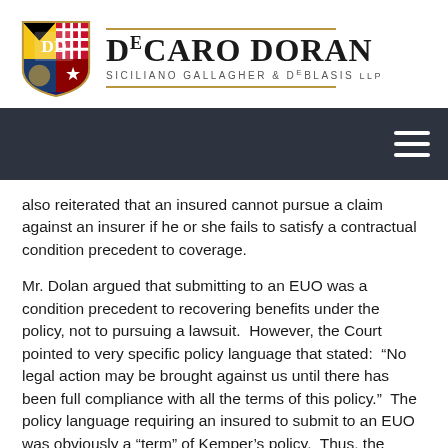[Figure (logo): DeCaro Doran Siciliano Gallagher & DeBlasis LLP law firm logo with shield emblem and firm name]
also reiterated that an insured cannot pursue a claim against an insurer if he or she fails to satisfy a contractual condition precedent to coverage.
Mr. Dolan argued that submitting to an EUO was a condition precedent to recovering benefits under the policy, not to pursuing a lawsuit. However, the Court pointed to very specific policy language that stated: “No legal action may be brought against us until there has been full compliance with all the terms of this policy.” The policy language requiring an insured to submit to an EUO was obviously a “term” of Kemper’s policy. Thus, the Court held, no legal action could be brought against Kemper until an insured has submitted to an EUO, if one was requested